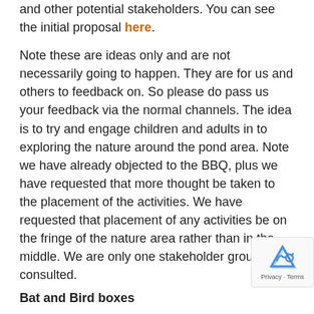and other potential stakeholders. You can see the initial proposal here.
Note these are ideas only and are not necessarily going to happen. They are for us and others to feedback on. So please do pass us your feedback via the normal channels. The idea is to try and engage children and adults in to exploring the nature around the pond area. Note we have already objected to the BBQ, plus we have requested that more thought be taken to the placement of the activities. We have requested that placement of any activities be on the fringe of the nature area rather than in the middle. We are only one stakeholder group being consulted.
Bat and Bird boxes
Some are starting to appear, more to come!
Next meeting
The next meeting will be held on Wednesday, 24